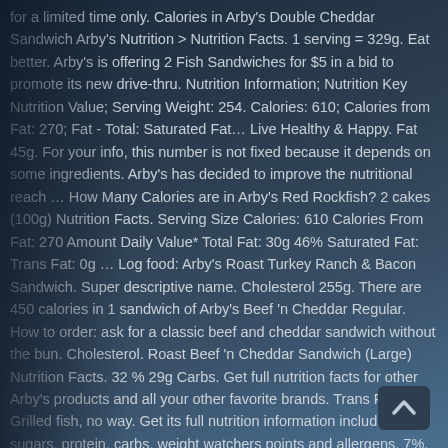for a limited time only. Calories in Arby's Double Cheddar Sandwich Arby's Nutrition > Nutrition Facts. 1 serving = 329g. Eat better. Arby's is offering 2 Fish Sandwiches for $5 in a bid to promote its new drive-thru. Nutrition Information; Nutrition Key Nutrition Value; Serving Weight: 254. Calories: 610; Calories from Fat: 270; Fat - Total: Saturated Fat... Live Healthy & Happy. Fat 45g. For your info, this number is not fixed because it depends on some ingredients. Arby's has decided to improve the nutritional reach ... How Many Calories are in Arby's Red Rockfish? 2 cakes (100g) Nutrition Facts. Serving Size Calories: 610 Calories From Fat: 270 Amount Daily Value* Total Fat: 30g 46% Saturated Fat: Trans Fat: 0g ... Log food: Arby's Roast Turkey Ranch & Bacon Sandwich. Super descriptive name. Cholesterol 255g. There are 450 calories in 1 sandwich of Arby's Beef 'n Cheddar Regular. How to order: ask for a classic beef and cheddar sandwich without the bun. Cholesterol. Roast Beef 'n Cheddar Sandwich (Large) Nutrition Facts. 32 % 29g Carbs. Get full nutrition facts for other Arby's products and all your other favorite brands. Trans Fat. Grilled fish, no way. Get its full nutrition information including fat, sugars, protein, carbs, weight watchers points and allergens. 7%. McDonalds Quarter Pounder with Cheese Versus Arby's Beef 'N Cheddar Sandwich